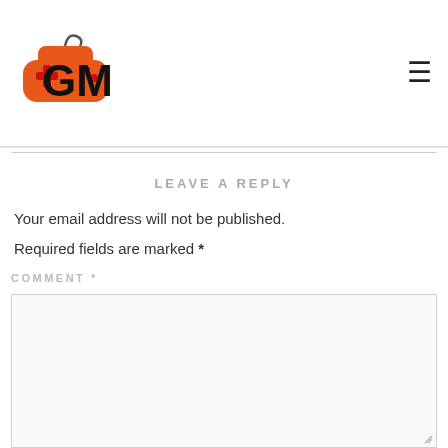[Figure (logo): Gaming website logo with orange game controller and bold 'GM' text]
LEAVE A REPLY
Your email address will not be published.
Required fields are marked *
COMMENT *
[Figure (other): Empty comment text area input box]